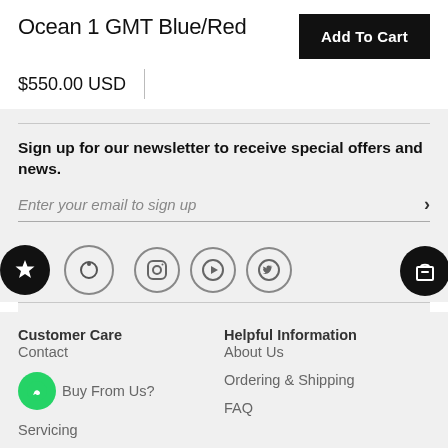Ocean 1 GMT Blue/Red
$550.00 USD
Sign up for our newsletter to receive special offers and news.
Enter your email to sign up
Customer Care
Helpful Information
Contact
Buy From Us?
Servicing
About Us
Ordering & Shipping
FAQ